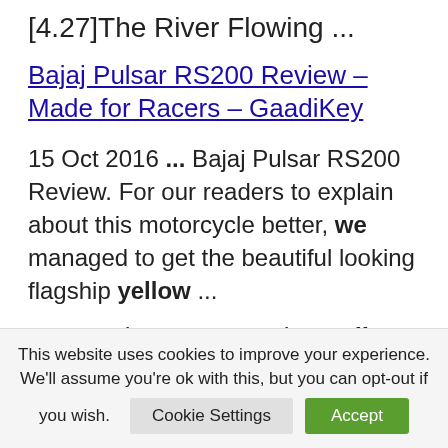[4.27]The River Flowing ...
Bajaj Pulsar RS200 Review – Made for Racers – GaadiKey
15 Oct 2016 ... Bajaj Pulsar RS200 Review. For our readers to explain about this motorcycle better, we managed to get the beautiful looking flagship yellow ...
2017 Subaru BRZ Series.Yellow –
This website uses cookies to improve your experience. We'll assume you're ok with this, but you can opt-out if you wish.